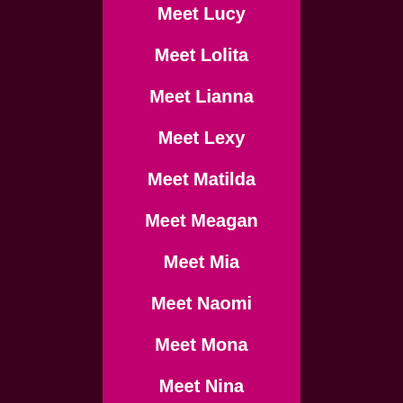Meet Lucy
Meet Lolita
Meet Lianna
Meet Lexy
Meet Matilda
Meet Meagan
Meet Mia
Meet Naomi
Meet Mona
Meet Nina